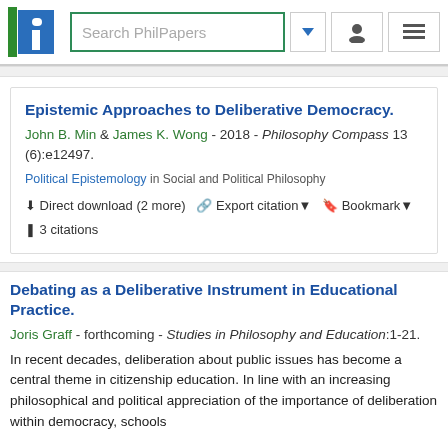[Figure (screenshot): PhilPapers navigation bar with logo, search box, dropdown arrow, user icon, and menu icon]
Epistemic Approaches to Deliberative Democracy.
John B. Min & James K. Wong - 2018 - Philosophy Compass 13 (6):e12497.
Political Epistemology in Social and Political Philosophy
Direct download (2 more)  Export citation  Bookmark  3 citations
Debating as a Deliberative Instrument in Educational Practice.
Joris Graff - forthcoming - Studies in Philosophy and Education:1-21.
In recent decades, deliberation about public issues has become a central theme in citizenship education. In line with an increasing philosophical and political appreciation of the importance of deliberation within democracy, schools